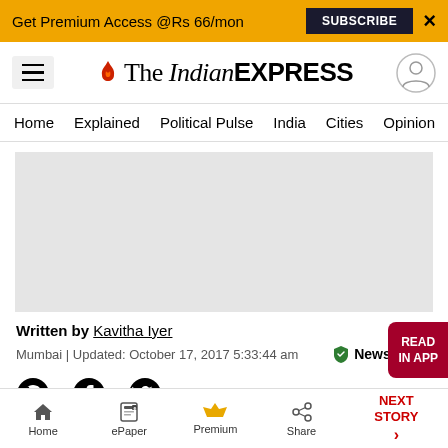Get Premium Access @Rs 66/mon  SUBSCRIBE  ×
The Indian EXPRESS
Home  Explained  Political Pulse  India  Cities  Opinion  Entertainment
[Figure (photo): Article image placeholder (gray rectangle)]
Written by Kavitha Iyer
Mumbai | Updated: October 17, 2017 5:33:44 am   NewsGuard
[Figure (other): Social share icons: WhatsApp, Facebook, Twitter]
Home  ePaper  Premium  Share  NEXT STORY →